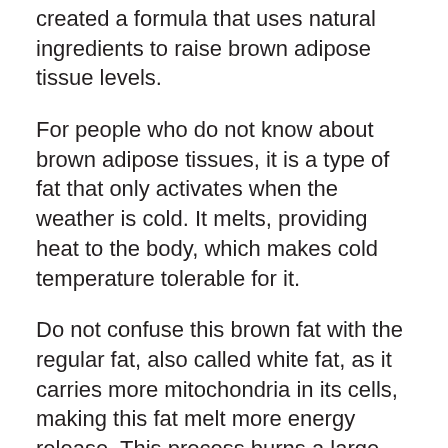created a formula that uses natural ingredients to raise brown adipose tissue levels.
For people who do not know about brown adipose tissues, it is a type of fat that only activates when the weather is cold. It melts, providing heat to the body, which makes cold temperature tolerable for it.
Do not confuse this brown fat with the regular fat, also called white fat, as it carries more mitochondria in its cells, making this fat melt more energy release. This process burns a large number of calories, keeping the body heated, energized, and inducing weight loss.